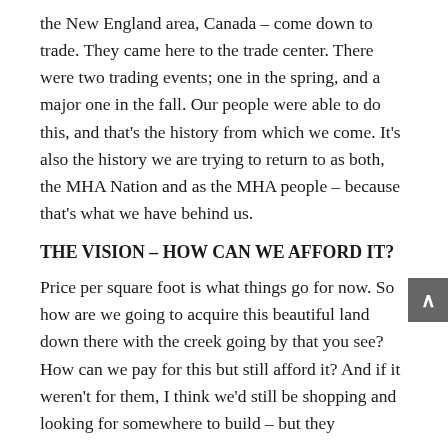the New England area, Canada – come down to trade. They came here to the trade center. There were two trading events; one in the spring, and a major one in the fall. Our people were able to do this, and that's the history from which we come. It's also the history we are trying to return to as both, the MHA Nation and as the MHA people – because that's what we have behind us.
THE VISION – HOW CAN WE AFFORD IT?
Price per square foot is what things go for now. So how are we going to acquire this beautiful land down there with the creek going by that you see? How can we pay for this but still afford it? And if it weren't for them, I think we'd still be shopping and looking for somewhere to build – but they